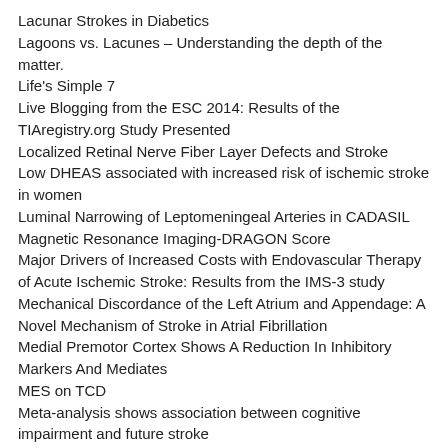Lacunar Strokes in Diabetics
Lagoons vs. Lacunes – Understanding the depth of the matter.
Life's Simple 7
Live Blogging from the ESC 2014: Results of the TIAregistry.org Study Presented
Localized Retinal Nerve Fiber Layer Defects and Stroke
Low DHEAS associated with increased risk of ischemic stroke in women
Luminal Narrowing of Leptomeningeal Arteries in CADASIL
Magnetic Resonance Imaging-DRAGON Score
Major Drivers of Increased Costs with Endovascular Therapy of Acute Ischemic Stroke: Results from the IMS-3 study
Mechanical Discordance of the Left Atrium and Appendage: A Novel Mechanism of Stroke in Atrial Fibrillation
Medial Premotor Cortex Shows A Reduction In Inhibitory Markers And Mediates
MES on TCD
Meta-analysis shows association between cognitive impairment and future stroke
Mirror, mirror on the wall, is priming helping stroke patients to recover faster?
MMP9 variation after thrombolysis in acute ischemic stroke
More is more: Dose-response benefits of therapy after stroke
Mortality after MI-associated Ischemic Stroke in Sweden